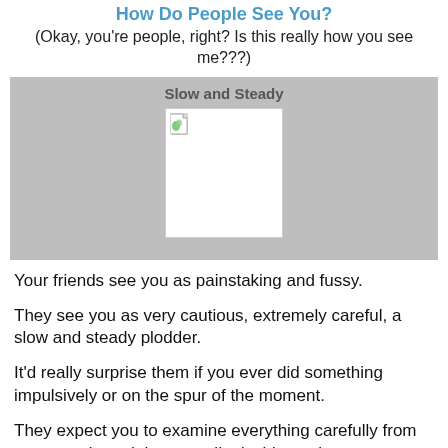How Do People See You?
(Okay, you're people, right? Is this really how you see me???)
Slow and Steady
[Figure (illustration): Broken/missing image placeholder showing a document icon with a green leaf element in the top-left corner, white background with light border.]
Your friends see you as painstaking and fussy.
They see you as very cautious, extremely careful, a slow and steady plodder.
It'd really surprise them if you ever did something impulsively or on the spur of the moment.
They expect you to examine everything carefully from every angle and then usually decide against